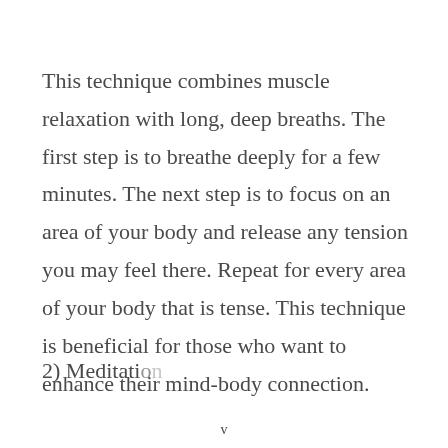This technique combines muscle relaxation with long, deep breaths. The first step is to breathe deeply for a few minutes. The next step is to focus on an area of your body and release any tension you may feel there. Repeat for every area of your body that is tense. This technique is beneficial for those who want to enhance their mind-body connection.
2) Meditation
v